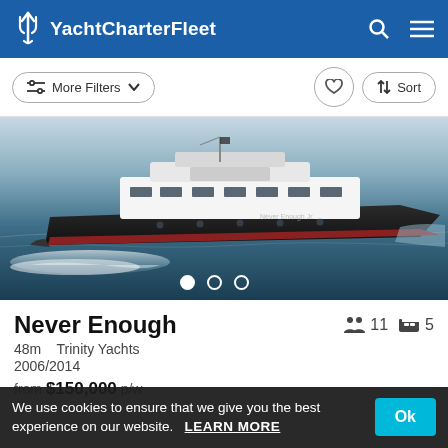YachtCharterFleet
More Filters   Sort
[Figure (photo): A large luxury motor yacht named 'Never Enough' (48m) underway on open water, dark hull with white superstructure, creating a wake, photographed from the side.]
Never Enough
48m   Trinity Yachts
2006/2014
from $150,000 p/w
We use cookies to ensure that we give you the best experience on our website.  LEARN MORE  Ok